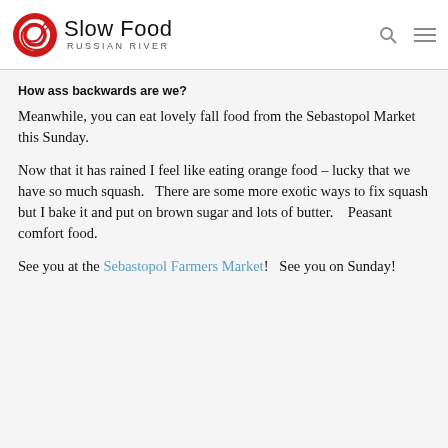Slow Food Russian River
How ass backwards are we?
Meanwhile, you can eat lovely fall food from the Sebastopol Market this Sunday.
Now that it has rained I feel like eating orange food – lucky that we have so much squash.   There are some more exotic ways to fix squash but I bake it and put on brown sugar and lots of butter.    Peasant comfort food.
See you at the Sebastopol Farmers Market!   See you on Sunday!